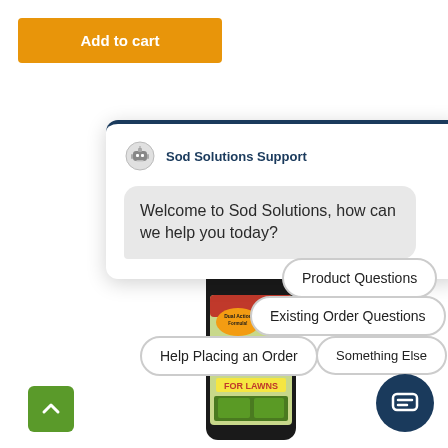Add to cart
[Figure (screenshot): Chat widget from Sod Solutions Support showing welcome message and option buttons: Product Questions, Existing Order Questions, Help Placing an Order, Something Else]
Sod Solutions Support
Welcome to Sod Solutions, how can we help you today?
Product Questions
Existing Order Questions
Help Placing an Order
Something Else
[Figure (photo): Bottle of Immunox Fungus Plus Insect for Lawns with Dual Action Formula label]